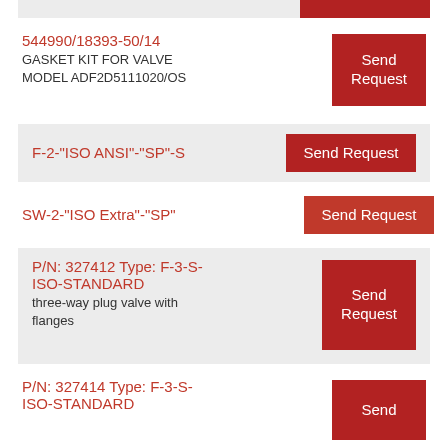544990/18393-50/14 GASKET KIT FOR VALVE MODEL ADF2D5111020/OS
F-2-"ISO ANSI"-"SP"-S
SW-2-"ISO Extra"-"SP"
P/N: 327412 Type: F-3-S-ISO-STANDARD — three-way plug valve with flanges
P/N: 327414 Type: F-3-S-ISO-STANDARD